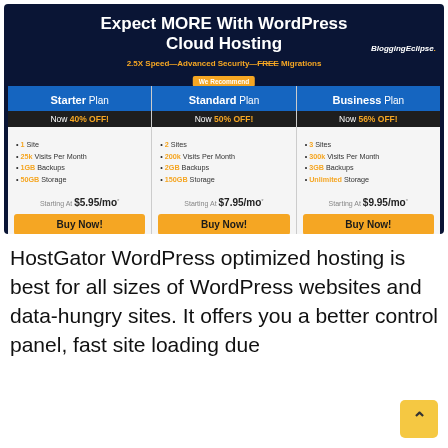[Figure (screenshot): HostGator WordPress Cloud Hosting pricing banner showing three plans: Starter (40% OFF, $5.95/mo), Standard (50% OFF, $7.95/mo), Business (56% OFF, $9.95/mo) with features and Buy Now buttons. BloggingEclipse branding visible.]
HostGator WordPress optimized hosting is best for all sizes of WordPress websites and data-hungry sites. It offers you a better control panel, fast site loading due